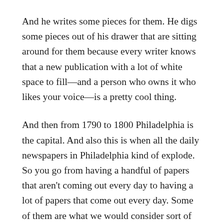And he writes some pieces for them. He digs some pieces out of his drawer that are sitting around for them because every writer knows that a new publication with a lot of white space to fill—and a person who owns it who likes your voice—is a pretty cool thing.
And then from 1790 to 1800 Philadelphia is the capital. And also this is when all the daily newspapers in Philadelphia kind of explode. So you go from having a handful of papers that aren't coming out every day to having a lot of papers that come out every day. Some of them are what we would consider sort of American factual newspapers. Some of them are more in the European tradition of everything's an essay; and, if you are Swiftian and funny, it doesn't matter if you make stuff up. Which is not part of our American